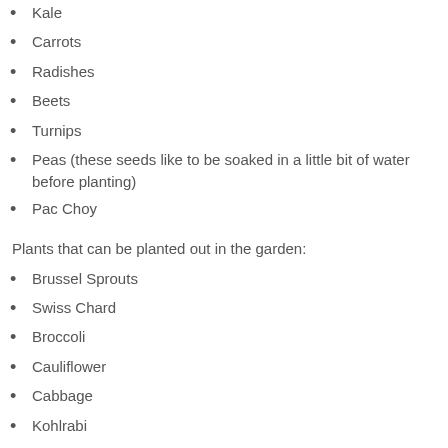Kale
Carrots
Radishes
Beets
Turnips
Peas (these seeds like to be soaked in a little bit of water before planting)
Pac Choy
Plants that can be planted out in the garden:
Brussel Sprouts
Swiss Chard
Broccoli
Cauliflower
Cabbage
Kohlrabi
Asparagus (these are a bonus as a perennial they come back every year)